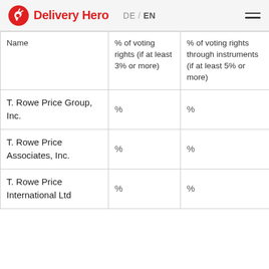Delivery Hero  DE / EN
| Name | % of voting rights (if at least 3% or more) | % of voting rights through instruments (if at least 5% or more) |
| --- | --- | --- |
| T. Rowe Price Group, Inc. | % | % |
| T. Rowe Price Associates, Inc. | % | % |
| T. Rowe Price International Ltd | % | % |